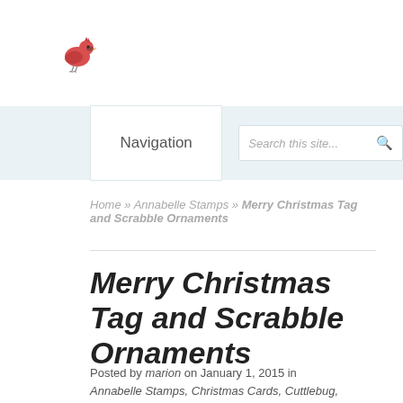[Figure (illustration): Small red cardinal bird illustration/logo]
Navigation
Search this site...
Home » Annabelle Stamps » Merry Christmas Tag and Scrabble Ornaments
Merry Christmas Tag and Scrabble Ornaments
Posted by marion on January 1, 2015 in Annabelle Stamps, Christmas Cards, Cuttlebug, Stamping, Tags, WPlus 9 | 8 comments